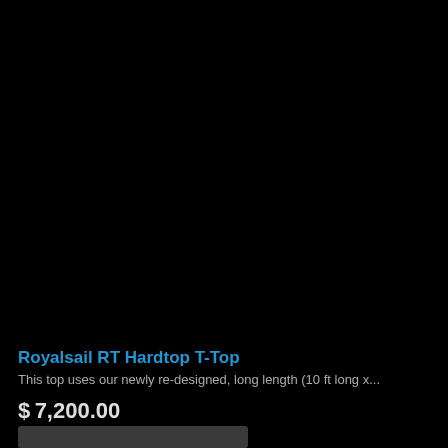[Figure (photo): Dark/black product image area for Royalsail RT Hardtop T-Top, image not visible due to dark background]
Royalsail RT Hardtop T-Top
This top uses our newly re-designed, long length (10 ft long x...
$7,200.00